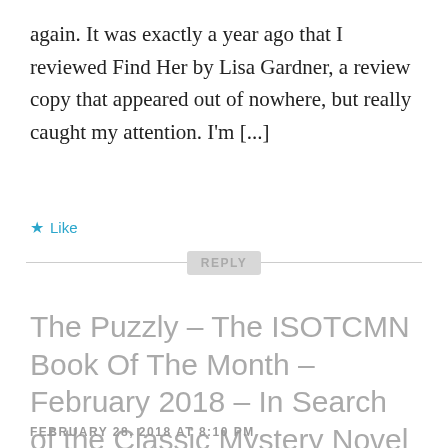again. It was exactly a year ago that I reviewed Find Her by Lisa Gardner, a review copy that appeared out of nowhere, but really caught my attention. I'm [...]
★ Like
REPLY
The Puzzly – The ISOTCMN Book Of The Month – February 2018 – In Search of the Classic Mystery Novel
FEBRUARY 28, 2018 AT 8:10 PM